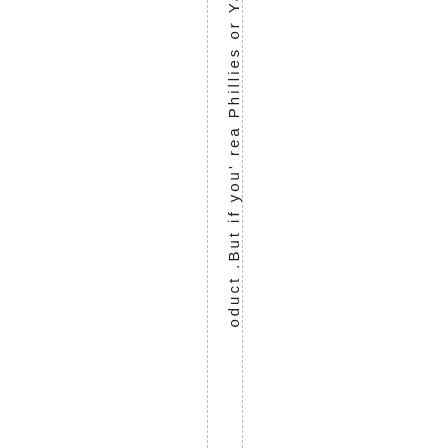oduct .But if you' rea Phillies or Ya